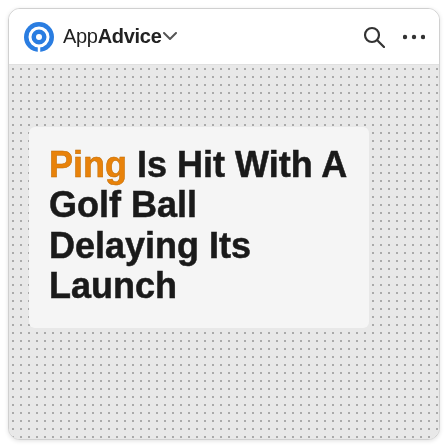AppAdvice
Ping Is Hit With A Golf Ball Delaying Its Launch